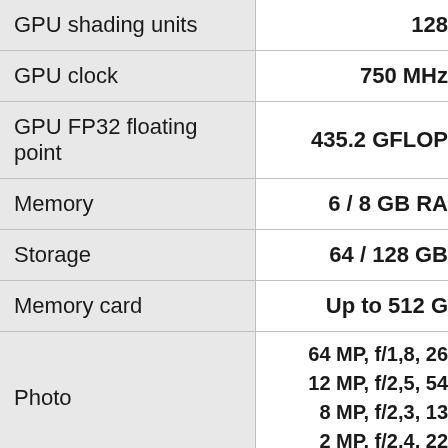| Specification | Value |
| --- | --- |
| GPU shading units | 128 |
| GPU clock | 750 MHz |
| GPU FP32 floating point | 435.2 GFLOPS |
| Memory | 6 / 8 GB RAM |
| Storage | 64 / 128 GB |
| Memory card | Up to 512 G |
| Photo | 64 MP, f/1,8, 26...
12 MP, f/2,5, 54...
8 MP, f/2,3, 13...
2 MP, f/2,4, 22... |
| Video | 4K@30fps
1080p@30/60/1... |
| Front photo | 16 MP, f/2,1, 26...
8 MP, f/2,2, 17... |
| Front video | 1080p@30fp... |